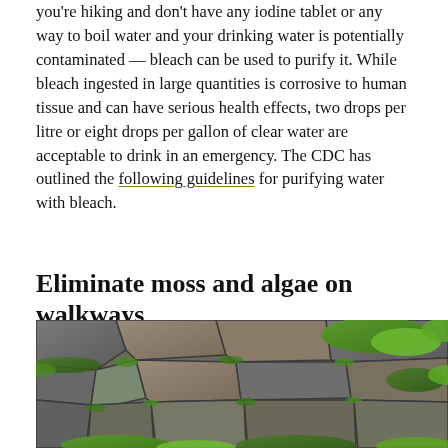you're hiking and don't have any iodine tablet or any way to boil water and your drinking water is potentially contaminated — bleach can be used to purify it. While bleach ingested in large quantities is corrosive to human tissue and can have serious health effects, two drops per litre or eight drops per gallon of clear water are acceptable to drink in an emergency. The CDC has outlined the following guidelines for purifying water with bleach.
Eliminate moss and algae on walkways
[Figure (photo): Close-up photo of stone walkway pavers with green moss and algae growing between and on the stones]